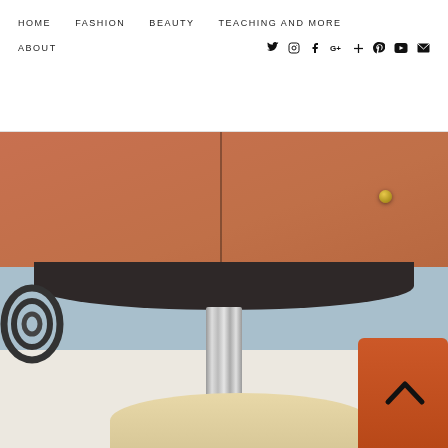HOME  FASHION  BEAUTY  TEACHING AND MORE  ABOUT  [social icons: twitter, instagram, facebook, google+, plus, pinterest, youtube, email]
[Figure (photo): Close-up photo of a terracotta/orange mid-century style cabinet or sideboard with two drawers separated by a vertical line, a gold knob on the right drawer. Below the cabinet is a dark curved shelf on a chrome pedestal. In the lower portion, a cream-colored rounded stool seat is visible, an orange/terracotta cylindrical object at bottom right, and a spiral decorative element at bottom left. Background has blue-gray tones. A back-to-top chevron arrow is visible at bottom right.]